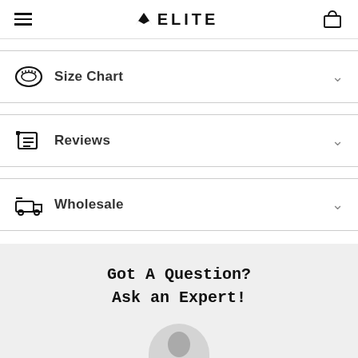ELITE navigation header with hamburger menu and cart icon
Size Chart
Reviews
Wholesale
Got A Question? Ask an Expert!